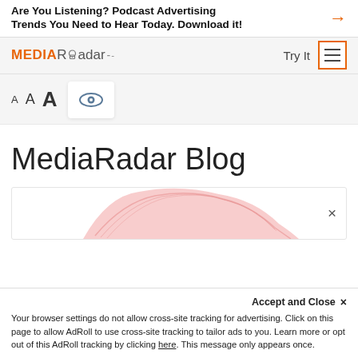Are You Listening? Podcast Advertising Trends You Need to Hear Today. Download it!
[Figure (logo): MediaRadar logo with lock icon and dash, orange MEDIA text and gray Radar text]
Try It
[Figure (screenshot): Hamburger menu icon inside orange rectangle border]
[Figure (screenshot): Font size accessibility controls: three A letters in increasing sizes, and an eye icon button]
MediaRadar Blog
[Figure (illustration): Partially visible article card with pink/red scribble illustration and an X close button]
Accept and Close ×
Your browser settings do not allow cross-site tracking for advertising. Click on this page to allow AdRoll to use cross-site tracking to tailor ads to you. Learn more or opt out of this AdRoll tracking by clicking here. This message only appears once.